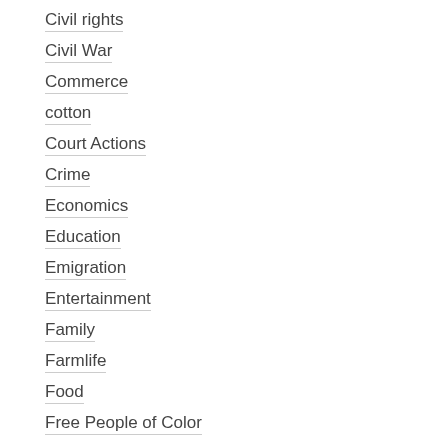Civil rights
Civil War
Commerce
cotton
Court Actions
Crime
Economics
Education
Emigration
Entertainment
Family
Farmlife
Food
Free People of Color